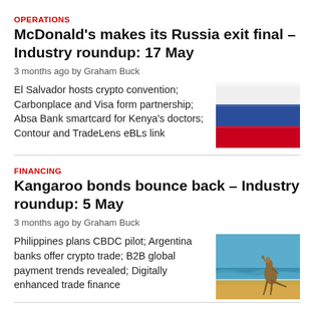OPERATIONS
McDonald's makes its Russia exit final – Industry roundup: 17 May
3 months ago by Graham Buck
El Salvador hosts crypto convention; Carbonplace and Visa form partnership; Absa Bank smartcard for Kenya's doctors; Contour and TradeLens eBLs link
[Figure (photo): Russian flag with white, blue, and red horizontal stripes]
FINANCING
Kangaroo bonds bounce back – Industry roundup: 5 May
3 months ago by Graham Buck
Philippines plans CBDC pilot; Argentina banks offer crypto trade; B2B global payment trends revealed; Digitally enhanced trade finance
[Figure (photo): A kangaroo standing on a beach with ocean waves in the background]